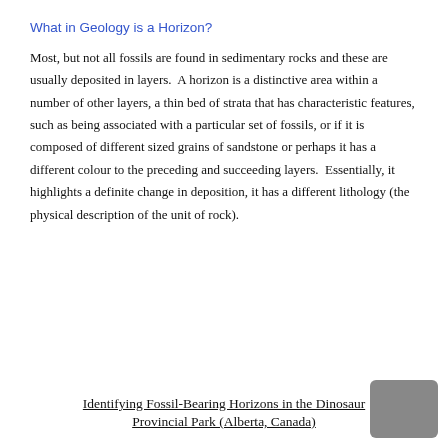What in Geology is a Horizon?
Most, but not all fossils are found in sedimentary rocks and these are usually deposited in layers.  A horizon is a distinctive area within a number of other layers, a thin bed of strata that has characteristic features, such as being associated with a particular set of fossils, or if it is composed of different sized grains of sandstone or perhaps it has a different colour to the preceding and succeeding layers.  Essentially, it highlights a definite change in deposition, it has a different lithology (the physical description of the unit of rock).
Identifying Fossil-Bearing Horizons in the Dinosaur Provincial Park (Alberta, Canada)